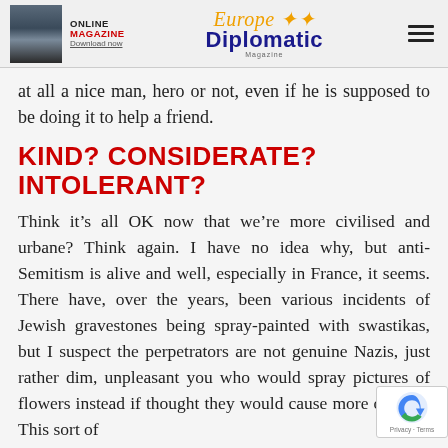ONLINE MAGAZINE Download now | Europe Diplomatic Magazine
at all a nice man, hero or not, even if he is supposed to be doing it to help a friend.
KIND? CONSIDERATE? INTOLERANT?
Think it’s all OK now that we’re more civilised and urbane? Think again. I have no idea why, but anti-Semitism is alive and well, especially in France, it seems. There have, over the years, been various incidents of Jewish gravestones being spray-painted with swastikas, but I suspect the perpetrators are not genuine Nazis, just rather dim, unpleasant you… who would spray pictures of flowers instead if… thought they would cause more offence. This sort of